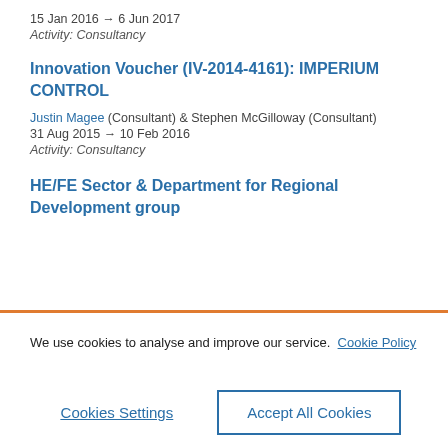15 Jan 2016 → 6 Jun 2017
Activity: Consultancy
Innovation Voucher (IV-2014-4161): IMPERIUM CONTROL
Justin Magee (Consultant) & Stephen McGilloway (Consultant)
31 Aug 2015 → 10 Feb 2016
Activity: Consultancy
HE/FE Sector & Department for Regional Development group
We use cookies to analyse and improve our service. Cookie Policy
Cookies Settings
Accept All Cookies